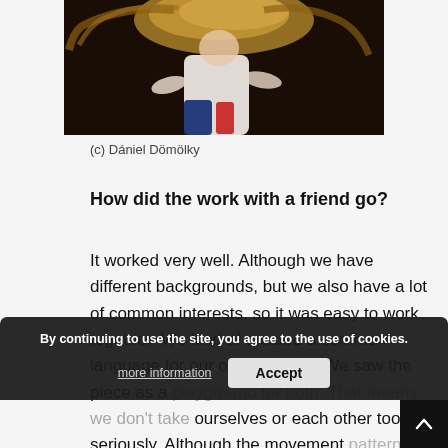[Figure (photo): A dancer or performer with flowing hair, wearing a white top and blue/red bottoms, photographed against a dark background with warm golden tones.]
(c) Dániel Dömölky
How did the work with a friend go?
It worked very well. Although we have different backgrounds, but we also have a lot of common interests, so it was easy to work together. We kind of created a common language for our own, I guess. We saw the piece as a playground for both. That means we don't take ourselves or each other too seriously. Although the movement pattern is mostly settled, the piece also
By continuing to use the site, you agree to the use of cookies. more information  Accept